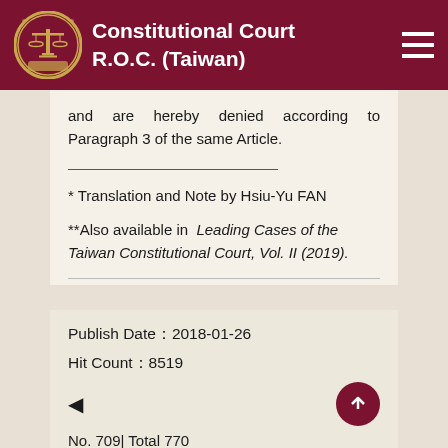Constitutional Court R.O.C. (Taiwan)
and are hereby denied according to Paragraph 3 of the same Article.
* Translation and Note by Hsiu-Yu FAN
**Also available in Leading Cases of the Taiwan Constitutional Court, Vol. II (2019).
Publish Date：2018-01-26
Hit Count：8519
No. 709| Total 770